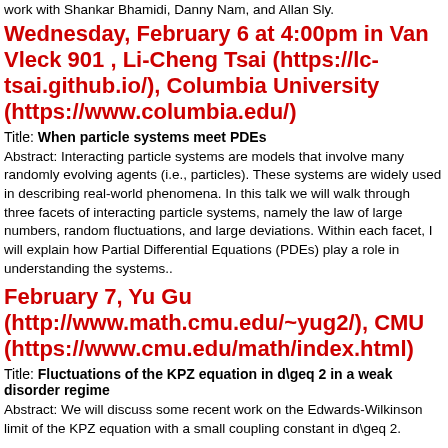work with Shankar Bhamidi, Danny Nam, and Allan Sly.
Wednesday, February 6 at 4:00pm in Van Vleck 901 , Li-Cheng Tsai (https://lc-tsai.github.io/), Columbia University (https://www.columbia.edu/)
Title: When particle systems meet PDEs
Abstract: Interacting particle systems are models that involve many randomly evolving agents (i.e., particles). These systems are widely used in describing real-world phenomena. In this talk we will walk through three facets of interacting particle systems, namely the law of large numbers, random fluctuations, and large deviations. Within each facet, I will explain how Partial Differential Equations (PDEs) play a role in understanding the systems..
February 7, Yu Gu (http://www.math.cmu.edu/~yug2/), CMU (https://www.cmu.edu/math/index.html)
Title: Fluctuations of the KPZ equation in d\geq 2 in a weak disorder regime
Abstract: We will discuss some recent work on the Edwards-Wilkinson limit of the KPZ equation with a small coupling constant in d\geq 2.